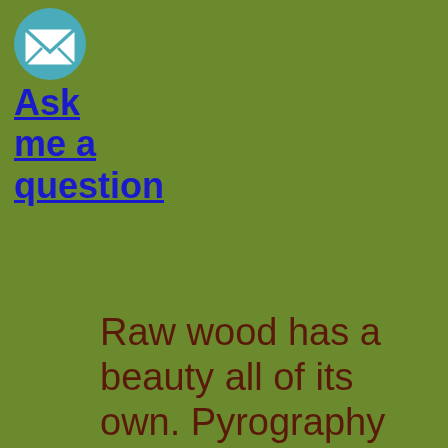[Figure (illustration): Small envelope/mail icon in a teal circular badge at top left]
Ask me a question
Raw wood has a beauty all of its own. Pyrography should take advantage of the wood's features to enhance an overall completeness of subject matter and framing. A knot hole can be a sun and grain marks can be textures in the land. I strive for this completeness when I